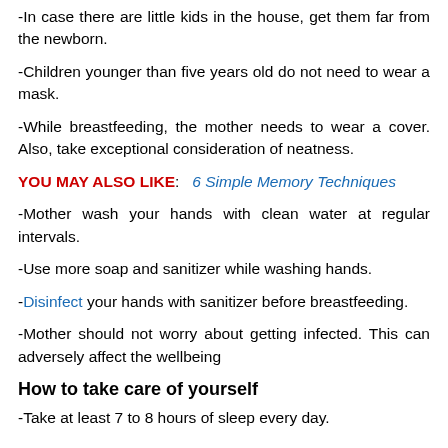-In case there are little kids in the house, get them far from the newborn.
-Children younger than five years old do not need to wear a mask.
-While breastfeeding, the mother needs to wear a cover. Also, take exceptional consideration of neatness.
YOU MAY ALSO LIKE:   6 Simple Memory Techniques
-Mother wash your hands with clean water at regular intervals.
-Use more soap and sanitizer while washing hands.
-Disinfect your hands with sanitizer before breastfeeding.
-Mother should not worry about getting infected. This can adversely affect the wellbeing
How to take care of yourself
-Take at least 7 to 8 hours of sleep every day.